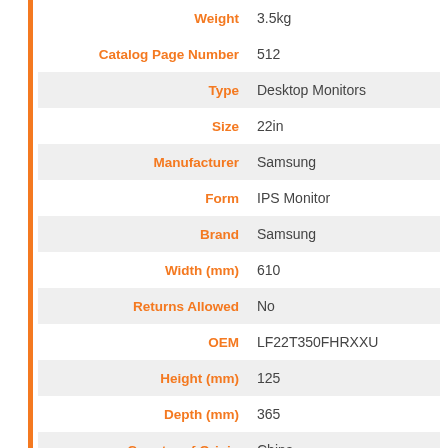| Attribute | Value |
| --- | --- |
| Weight | 3.5kg |
| Catalog Page Number | 512 |
| Type | Desktop Monitors |
| Size | 22in |
| Manufacturer | Samsung |
| Form | IPS Monitor |
| Brand | Samsung |
| Width (mm) | 610 |
| Returns Allowed | No |
| OEM | LF22T350FHRXXU |
| Height (mm) | 125 |
| Depth (mm) | 365 |
| Country of Origin | China |